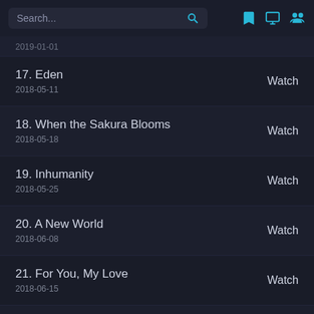Search...
17. Eden
2018-05-11
Watch
18. When the Sakura Blooms
2018-05-18
Watch
19. Inhumanity
2018-05-25
Watch
20. A New World
2018-06-08
Watch
21. For You, My Love
2018-06-15
Watch
22. Stargazers
2018-06-22
Watch